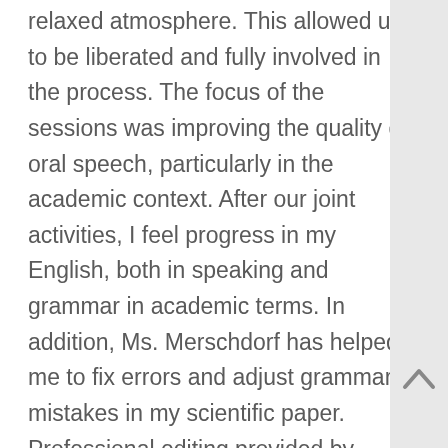relaxed atmosphere. This allowed us to be liberated and fully involved in the process. The focus of the sessions was improving the quality of oral speech, particularly in the academic context. After our joint activities, I feel progress in my English, both in speaking and grammar in academic terms. In addition, Ms. Merschdorf has helped me to fix errors and adjust grammar mistakes in my scientific paper. Professional editing provided by Isabella was at a high level. This has helped me to improve my scientific paper and, accordingly, its assessment. I was very satisfied with the